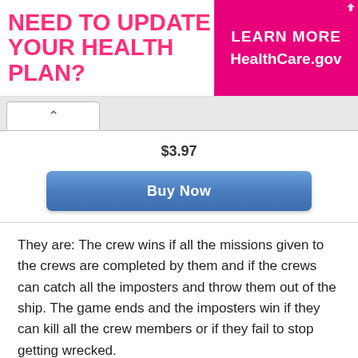[Figure (screenshot): Advertisement banner: 'NEED TO UPDATE YOUR HEALTH PLAN? LEARN MORE HealthCare.gov' on pink/white background]
[Figure (screenshot): Browser tab bar with a back/up arrow tab]
$3.97
[Figure (screenshot): Blue 'Buy Now' button]
They are: The crew wins if all the missions given to the crews are completed by them and if the crews can catch all the imposters and throw them out of the ship. The game ends and the imposters win if they can kill all the crew members or if they fail to stop getting wrecked.
Features of the Game
The game provides the players with several features. They are as follows: